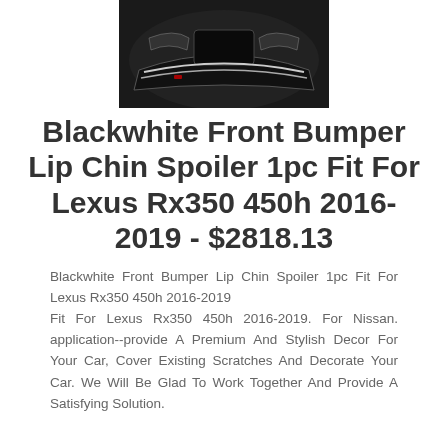[Figure (photo): Front view of a black Lexus vehicle front bumper lip/chin spoiler product photo]
Blackwhite Front Bumper Lip Chin Spoiler 1pc Fit For Lexus Rx350 450h 2016-2019 - $2818.13
Blackwhite Front Bumper Lip Chin Spoiler 1pc Fit For Lexus Rx350 450h 2016-2019
Fit For Lexus Rx350 450h 2016-2019. For Nissan. application--provide A Premium And Stylish Decor For Your Car, Cover Existing Scratches And Decorate Your Car. We Will Be Glad To Work Together And Provide A Satisfying Solution.